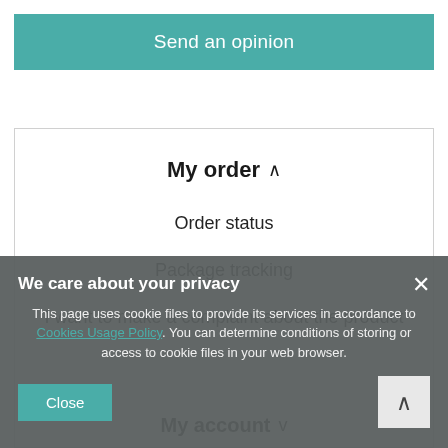Send an opinion
My order ^
Order status
Package tracking
I want to make a complaint about the product
My account v
We care about your privacy
This page uses cookie files to provide its services in accordance to Cookies Usage Policy. You can determine conditions of storing or access to cookie files in your web browser.
Close